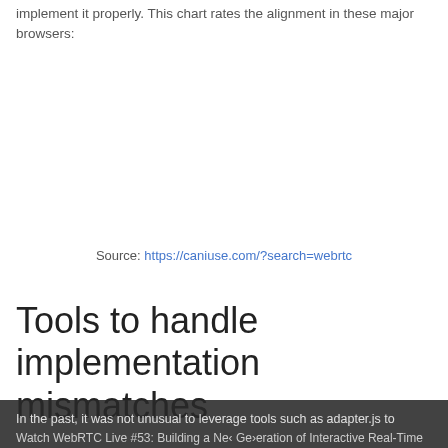implement it properly. This chart rates the alignment in these major browsers:
Source: https://caniuse.com/?search=webrtc
Tools to handle implementation mismatches
In the past, it was not unusual to leverage tools such as adapter.js to overcome all of the implementation mismatches and make the